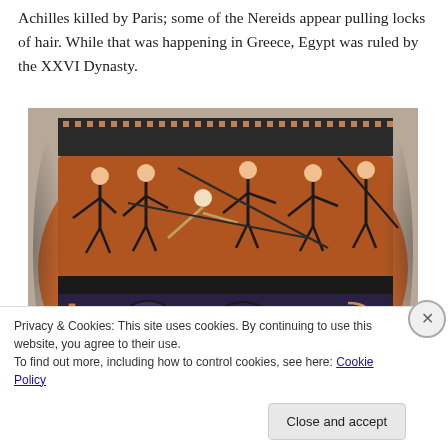Achilles killed by Paris; some of the Nereids appear pulling locks of hair. While that was happening in Greece, Egypt was ruled by the XXVI Dynasty.
[Figure (photo): Photograph of a Greek black-figure vase (amphora) showing mythological scenes with figures including Nereids pulling hair, warriors, and decorative meander patterns along the rim.]
Privacy & Cookies: This site uses cookies. By continuing to use this website, you agree to their use.
To find out more, including how to control cookies, see here: Cookie Policy